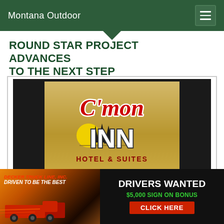Montana Outdoor
ROUND STAR PROJECT ADVANCES TO THE NEXT STEP
[Figure (logo): C'mon Inn Hotel & Suites logo on gold background, with stylized script text and pine trees with yellow sun motif, set inside a dark bordered frame]
[Figure (photo): Decker Truck Line, Inc. advertisement banner reading 'DRIVEN TO BE THE BEST' with red trucks on sunset background, and right panel showing 'DRIVERS WANTED $5,000 SIGN ON BONUS CLICK HERE']